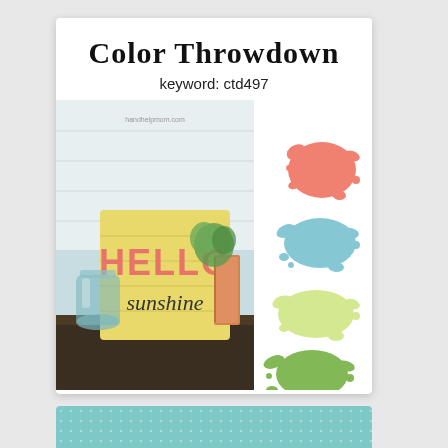Color Throwdown
keyword: ctd497
[Figure (photo): A wooden sign reading HELLO sunshine in coral/pink and script letters, placed on a dark table with a blue mason jar and stacked books, against a white brick wall background. To the right are four paint splat blobs in coral/salmon, light blue, pale yellow-green, and medium green.]
[Figure (photo): Bottom partial card with teal/mint dotted background pattern.]